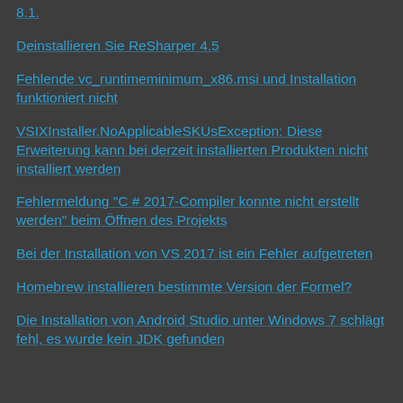8.1.
Deinstallieren Sie ReSharper 4.5
Fehlende vc_runtimeminimum_x86.msi und Installation funktioniert nicht
VSIXInstaller.NoApplicableSKUsException: Diese Erweiterung kann bei derzeit installierten Produkten nicht installiert werden
Fehlermeldung "C # 2017-Compiler konnte nicht erstellt werden" beim Öffnen des Projekts
Bei der Installation von VS 2017 ist ein Fehler aufgetreten
Homebrew installieren bestimmte Version der Formel?
Die Installation von Android Studio unter Windows 7 schlägt fehl, es wurde kein JDK gefunden